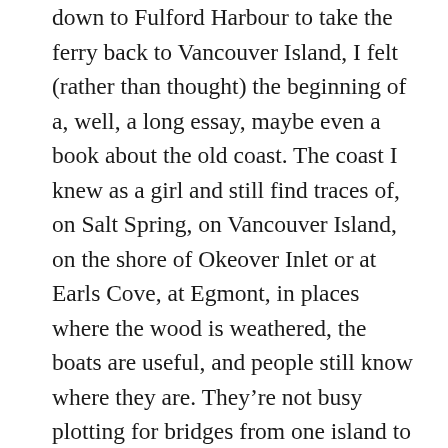down to Fulford Harbour to take the ferry back to Vancouver Island, I felt (rather than thought) the beginning of a, well, a long essay, maybe even a book about the old coast. The coast I knew as a girl and still find traces of, on Salt Spring, on Vancouver Island, on the shore of Okeover Inlet or at Earls Cove, at Egmont, in places where the wood is weathered, the boats are useful, and people still know where they are. They're not busy plotting for bridges from one island to another, for fancy forms of governance, for a billion dollar highway to blast its way from Squamish to Gibsons. They aren't interested in sidewalks in rural fishing villages or buried power lines (because that's how it's done in Montreal). A bucket of clams is a